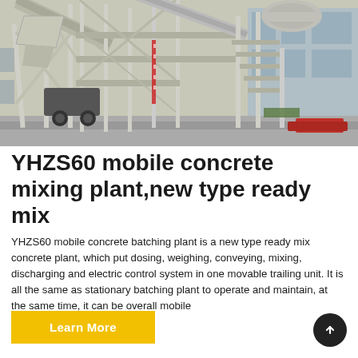[Figure (photo): Photograph of a YHZS60 mobile concrete mixing plant/batching plant on a paved outdoor area, showing the large metal frame structure with conveyor belts, mixing drum, aggregate bins, and a truck underneath. Industrial building visible in background.]
YHZS60 mobile concrete mixing plant,new type ready mix
YHZS60 mobile concrete batching plant is a new type ready mix concrete plant, which put dosing, weighing, conveying, mixing, discharging and electric control system in one movable trailing unit. It is all the same as stationary batching plant to operate and maintain, at the same time, it can be overall mobile